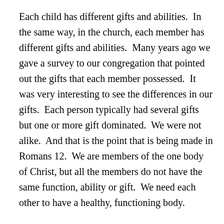Each child has different gifts and abilities.  In the same way, in the church, each member has different gifts and abilities.  Many years ago we gave a survey to our congregation that pointed out the gifts that each member possessed.  It was very interesting to see the differences in our gifts.  Each person typically had several gifts but one or more gift dominated.  We were not alike.  And that is the point that is being made in Romans 12.  We are members of the one body of Christ, but all the members do not have the same function, ability or gift.  We need each other to have a healthy, functioning body.
What are the gifts of your brothers and sisters in Christ?  Value the gifts that they have which are different from yours.  What are your gifts?  Use your